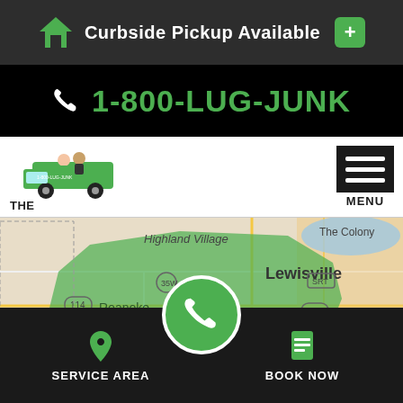Curbside Pickup Available
1-800-LUG-JUNK
[Figure (logo): The Junkluggers company logo with cartoon characters on a truck]
[Figure (map): Service area map showing highlighted green region covering Roanoke, Keller, Lewisville, Carrollton, Farmers Branch and surrounding areas in Texas]
SERVICE AREA   BOOK NOW